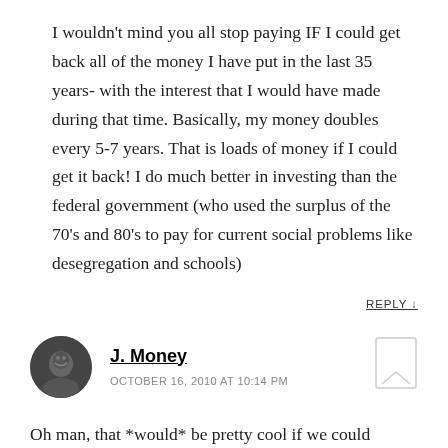I wouldn't mind you all stop paying IF I could get back all of the money I have put in the last 35 years- with the interest that I would have made during that time. Basically, my money doubles every 5-7 years. That is loads of money if I could get it back! I do much better in investing than the federal government (who used the surplus of the 70's and 80's to pay for current social problems like desegregation and schools)
REPLY ↓
J. Money
OCTOBER 16, 2010 AT 10:14 PM
Oh man, that *would* be pretty cool if we could